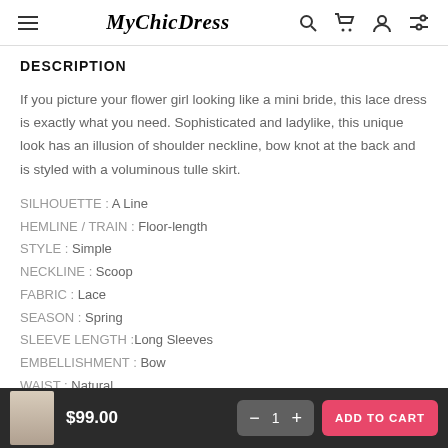MyChicDress
DESCRIPTION
If you picture your flower girl looking like a mini bride, this lace dress is exactly what you need. Sophisticated and ladylike, this unique look has an illusion of shoulder neckline, bow knot at the back and is styled with a voluminous tulle skirt.
SILHOUETTE : A Line
HEMLINE / TRAIN : Floor-length
STYLE : Simple
NECKLINE : Scoop
FABRIC : Lace
SEASON : Spring
SLEEVE LENGTH :Long Sleeves
EMBELLISHMENT : Bow
WAIST : Natural
$99.00  1  ADD TO CART